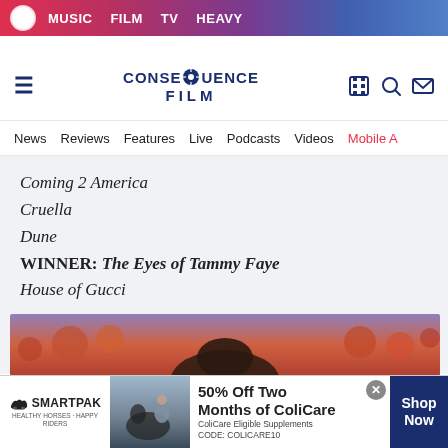MUSIC  FILM  TV  HEAVY
[Figure (logo): Consequence Film site logo with hamburger menu and icons]
News  Reviews  Features  Live  Podcasts  Videos  Mobile A
Coming 2 America
Cruella
Dune
WINNER: The Eyes of Tammy Faye
House of Gucci
Animated Feature Film
[Figure (photo): Film scene with orange/purple background, person with dark hair visible]
[Figure (other): SmartPak advertisement: 50% Off Two Months of ColiCare, ColiCare Eligible Supplements, CODE: COLICARE10]